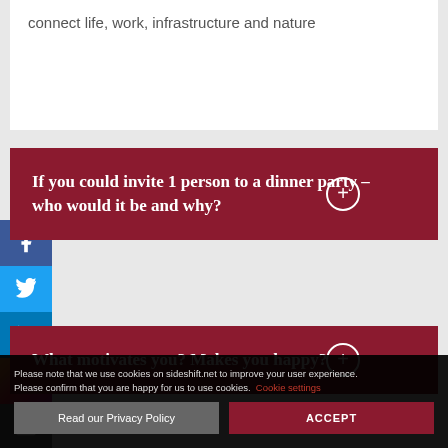connect life, work, infrastructure and nature
If you could invite 1 person to a dinner party – who would it be and why?
What motivates you? Makes you happy?
What advice would you give your 10-year-old self?
Please note that we use cookies on sideshift.net to improve your user experience. Please confirm that you are happy for us to use cookies. Cookie settings
Read our Privacy Policy
ACCEPT